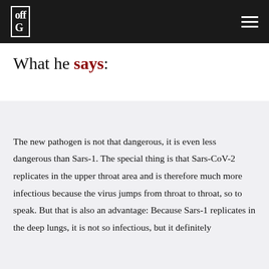[Figure (logo): OffGuardian logo in white text on dark header bar with hamburger menu icon]
What he says:
The new pathogen is not that dangerous, it is even less dangerous than Sars-1. The special thing is that Sars-CoV-2 replicates in the upper throat area and is therefore much more infectious because the virus jumps from throat to throat, so to speak. But that is also an advantage: Because Sars-1 replicates in the deep lungs, it is not so infectious, but it definitely